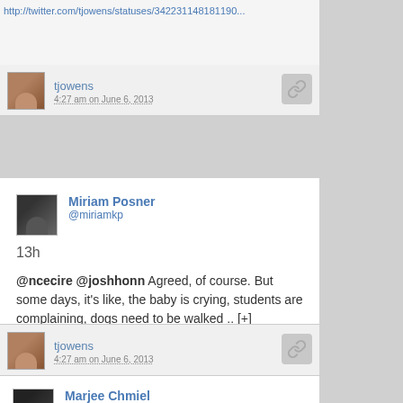http://twitter.com/tjowens/statuses/342231148181190...
tjowens — 4:27 am on June 6, 2013
Miriam Posner @miriamkp
13h
@ncecire @joshhonn Agreed, of course. But some days, it's like, the baby is crying, students are complaining, dogs need to be walked .. [+]
Article source:
http://twitter.com/tjowens/statuses/34231510828386630
tjowens — 4:27 am on June 6, 2013
Marjee Chmiel @mchmiel